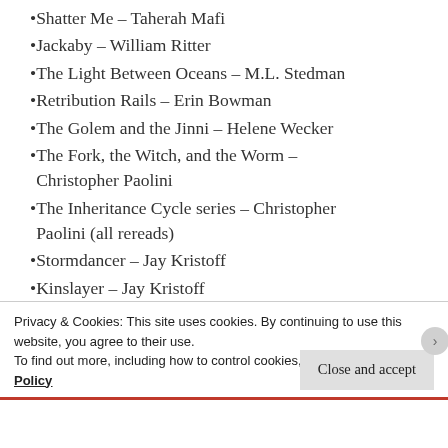Shatter Me – Taherah Mafi
Jackaby – William Ritter
The Light Between Oceans – M.L. Stedman
Retribution Rails – Erin Bowman
The Golem and the Jinni – Helene Wecker
The Fork, the Witch, and the Worm – Christopher Paolini
The Inheritance Cycle series – Christopher Paolini (all rereads)
Stormdancer – Jay Kristoff
Kinslayer – Jay Kristoff
Endsinger – Jay Kristoff
War Storm – Victoria Aveyard
Privacy & Cookies: This site uses cookies. By continuing to use this website, you agree to their use.
To find out more, including how to control cookies, see here: Cookie Policy
Close and accept